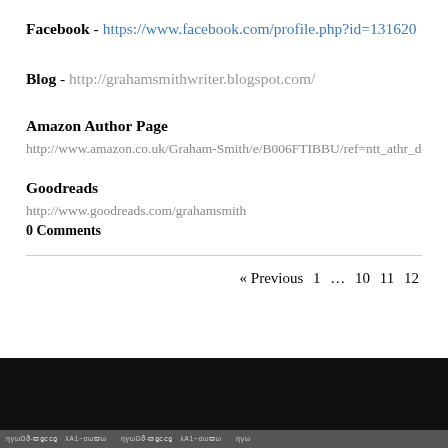Facebook - https://www.facebook.com/profile.php?id=1316200...
Blog - http://grahamsmithwriter.blogspot.com/
Amazon Author Page
http://www.amazon.co.uk/Graham-Smith/e/B006FTIBBU/ref=ntt_athr_dp_pel_1
Goodreads
http://www.goodreads.com/grahamsmith
0 Comments
« Previous  1  …  10  11  12